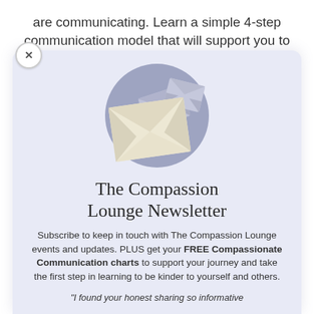are communicating. Learn a simple 4-step communication model that will support you to
[Figure (illustration): Three cream/beige envelope icons arranged in a circular grey/lavender background, suggesting a newsletter or email subscription service.]
The Compassion Lounge Newsletter
Subscribe to keep in touch with The Compassion Lounge events and updates. PLUS get your FREE Compassionate Communication charts to support your journey and take the first step in learning to be kinder to yourself and others.
"I found your honest sharing so informative